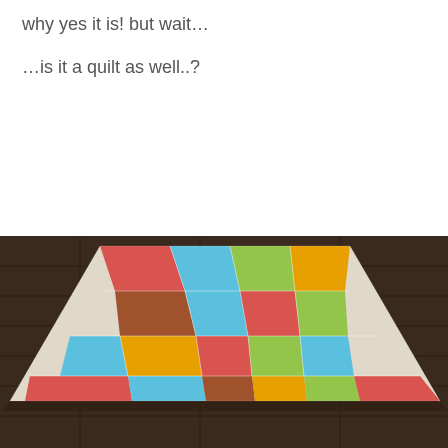why yes it is! but wait…

…is it a quilt as well..?
[Figure (photo): A colorful patchwork quilt laid flat on a dark wooden floor, viewed from a slight angle. The quilt features many rectangular fabric patches in bright colors including red, blue, green, orange, yellow, brown, and teal, arranged in a modern improvisational style.]